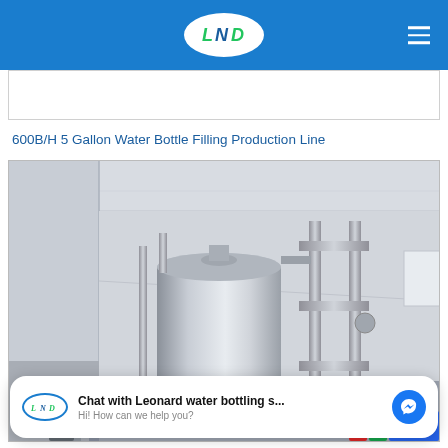LND logo header navigation
600B/H 5 Gallon Water Bottle Filling Production Line
[Figure (photo): Industrial water bottling production facility showing a large stainless steel tank/vessel with piping in a clean room environment with white walls and ceiling]
Chat with Leonard water bottling s... Hi! How can we help you?